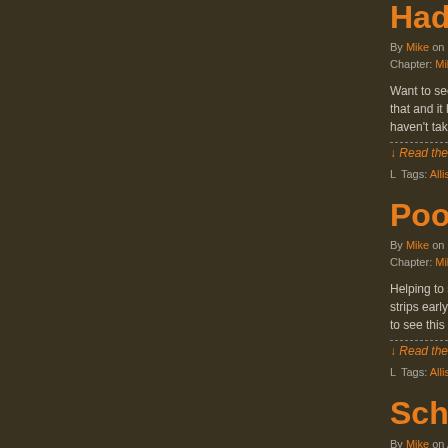Had A Ba...
By Mike on October...
Chapter: Mike: Boo...
Want to see the... that and it helps... haven't taken a...
↓ Read the rest...
Tags: Allison, ba...
PooPourr...
By Mike on Septen...
Chapter: Mike: Boo...
Helping to supp... strips early, gira... to see this prod...
↓ Read the rest...
Tags: Allison, ho...
School St...
By Mike on August...
Chapter: Mike: Bo...